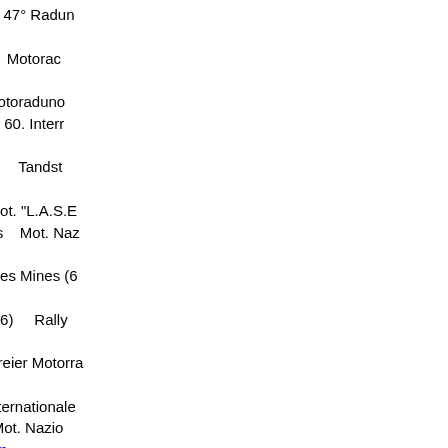17-Aug 19-Aug Rovereto 47° Radun www.mcpippozanini.it 25-Aug 26-Aug Ragusa Motorad www.motoclubibleo.it 07-Sep 09-Sep Maratea Motoraduno 07-Sep 09-Sep Gefrees 60. Intern www.msc-gefrees.de 07-Sep 09-Sep Bankeryd Tandst www.svenskalag.se 15-Sep 16-Sep Molfetta Mot. "L.A.S.E 21-Sep 23-Sep Porto Torres Mot. Naz Nordkapp I 22-Sep 23-Sep Sourcieux les Mines (6 Rhone F www.ffmoto.org 28-Sep 30-Sep Queaux (86) Rally yvon_deguil@yahoo.fr 28-Sep 30-Sep Zittau Freier Motorra jkieautor@freenet.de 28-Sep 30-Sep Vienne Internationale 05-Oct 07-Oct Ischia Mot. Nazio www.motoclubischiabikers.com 06-Oct 07-Oct Sommičres (30) www.ffmoto.org 19-Oct 21-Oct Sant Angelo in Vado Benelli I www.federmoto.it
Doplnění kalendáře SMT M 2018
INTERNATIONAL TOURISTIC MEETING CHALLEN EVENT